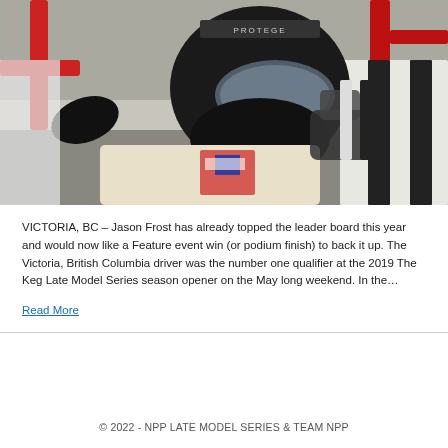[Figure (photo): A racing driver in a black helmet and racing suit sitting inside a race car cockpit, wearing a HANS device and harnesses. Red roll cage visible in background.]
VICTORIA, BC – Jason Frost has already topped the leader board this year and would now like a Feature event win (or podium finish) to back it up. The Victoria, British Columbia driver was the number one qualifier at the 2019 The Keg Late Model Series season opener on the May long weekend. In the…
Read More
© 2022 - NPP LATE MODEL SERIES & TEAM NPP